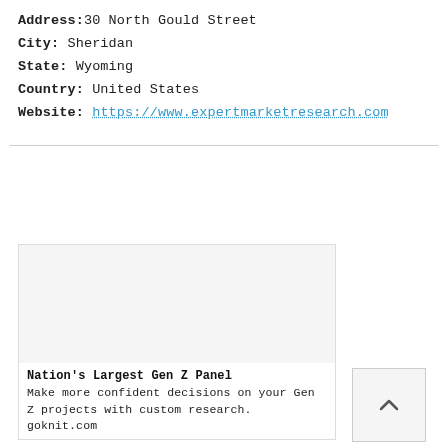Address: 30 North Gould Street
City: Sheridan
State: Wyoming
Country: United States
Website: https://www.expertmarketresearch.com
[Figure (other): Advertisement box with blank image area, title 'Nation's Largest Gen Z Panel', body text 'Make more confident decisions on your Gen Z projects with custom research. goknit.com', and a play button icon at bottom left.]